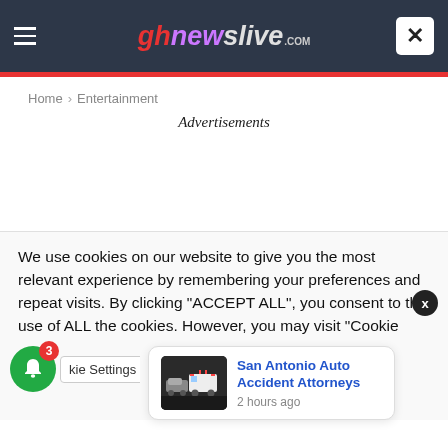ghnewslive.com
Home › Entertainment
Advertisements
We use cookies on our website to give you the most relevant experience by remembering your preferences and repeat visits. By clicking "ACCEPT ALL", you consent to the use of ALL the cookies. However, you may visit "Cookie Settings" to pro
San Antonio Auto Accident Attorneys
2 hours ago